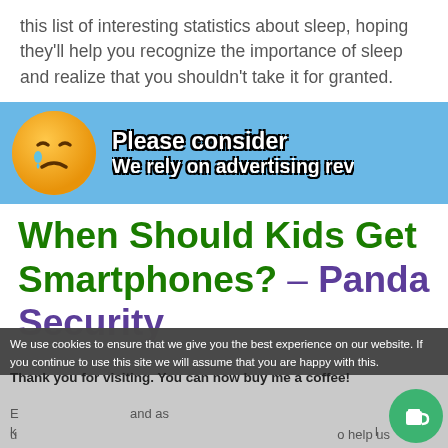this list of interesting statistics about sleep, hoping they'll help you recognize the importance of sleep and realize that you shouldn't take it for granted.
[Figure (infographic): Ad banner with light blue background showing a crying emoji face on the left and bold white text with black outline reading 'Please consider' and 'We rely on advertising rev' on the right]
When Should Kids Get Smartphones? – Panda Security
[Figure (screenshot): Overlapping cookie consent notice and 'buy me a coffee' dialog overlay at the bottom of the page, with partial text visible underneath]